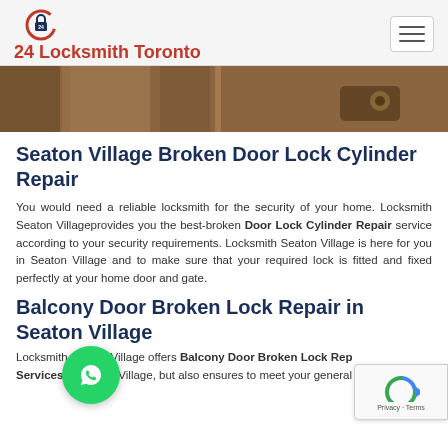24 Locksmith Toronto
[Figure (photo): Close-up photo of a door lock and handle, brownish/wood tones, blurred background with door frame]
Seaton Village Broken Door Lock Cylinder Repair
You would need a reliable locksmith for the security of your home. Locksmith Seaton Villageprovides you the best-broken Door Lock Cylinder Repair service according to your security requirements. Locksmith Seaton Village is here for you in Seaton Village and to make sure that your required lock is fitted and fixed perfectly at your home door and gate.
Balcony Door Broken Lock Repair in Seaton Village
Locksmith Seaton Village offers Balcony Door Broken Lock Repair Services in Seaton Village, but also ensures to meet your general...